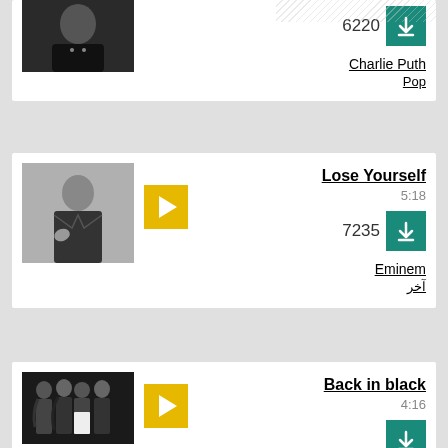[Figure (photo): Top partial card showing a man in black shirt, download count 6220 with teal download button, artist Charlie Puth, genre Pop]
6220
Charlie Puth
Pop
[Figure (photo): Music card for Eminem - Lose Yourself, showing Eminem in black jacket, with yellow play button, duration 5:18, download count 7235, genre آخر]
Lose Yourself
5:18
7235
Eminem
آخر
[Figure (photo): Music card for AC/DC - Back in black, showing band photo in black and white, with yellow play button, duration 4:16]
Back in black
4:16